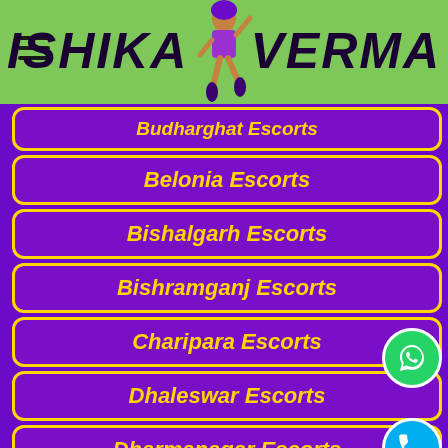ISHIKA VERMA
Budharghat Escorts
Belonia Escorts
Bishalgarh Escorts
Bishramganj Escorts
Charipara Escorts
Dhaleswar Escorts
Dharmanagar Escorts
Gandhigram Escorts
Indranagar Escorts
Jampui-hills Escorts
Jirania Escorts